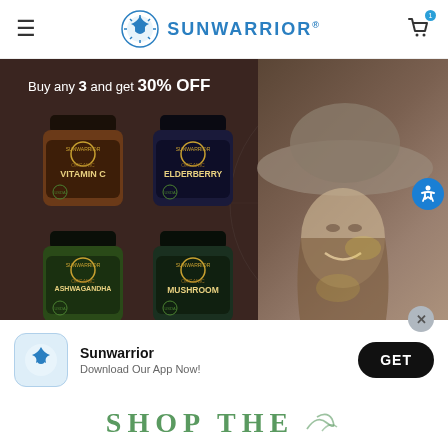SUNWARRIOR
[Figure (photo): Promotional banner showing 4 Sunwarrior supplement bottles (Organic Vitamin C, Organic Elderberry, Organic Ashwagandha, Organic Mushroom) with a woman in a wide-brim hat smiling, text: 'Buy any 3 and get 30% OFF']
Sunwarrior
Download Our App Now!
GET
SHOP THE